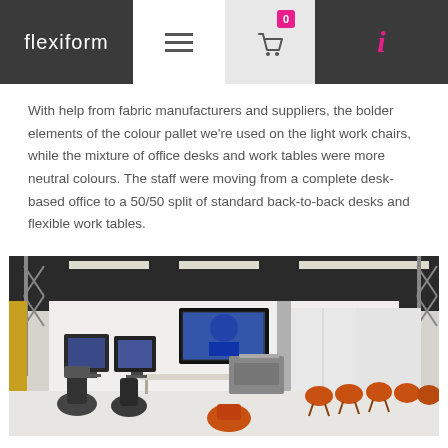flexiform
With help from fabric manufacturers and suppliers, the bolder elements of the colour pallet we're used on the light work chairs, while the mixture of office desks and work tables were more neutral colours. The staff were moving from a complete desk-based office to a 50/50 split of standard back-to-back desks and flexible work tables.
[Figure (photo): Interior of a modern open-plan office with orange chairs around work tables, computer monitors on desks, a wall-mounted TV screen, white partition walls, and industrial ceiling with exposed structure and strip lighting.]